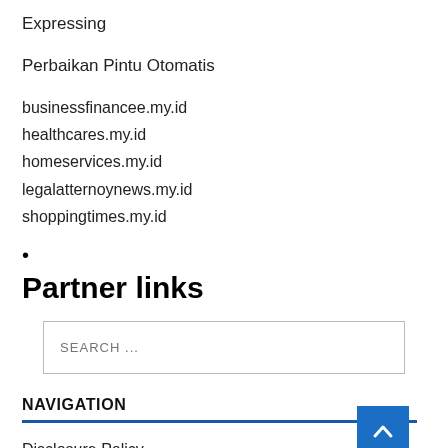Expressing
Perbaikan Pintu Otomatis
businessfinancee.my.id
healthcares.my.id
homeservices.my.id
legalatternoynews.my.id
shoppingtimes.my.id
•
Partner links
SEARCH ...
NAVIGATION
Disclosure Policy